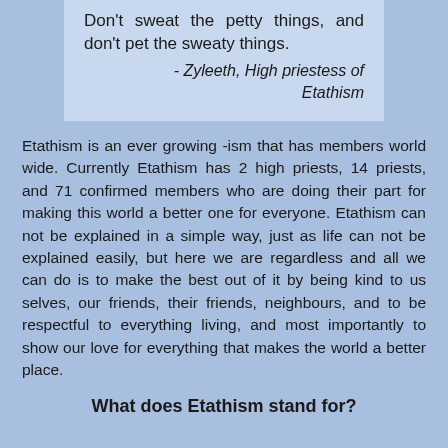Don't sweat the petty things, and don't pet the sweaty things.
 - Zyleeth, High priestess of Etathism
Etathism is an ever growing -ism that has members world wide. Currently Etathism has 2 high priests, 14 priests, and 71 confirmed members who are doing their part for making this world a better one for everyone. Etathism can not be explained in a simple way, just as life can not be explained easily, but here we are regardless and all we can do is to make the best out of it by being kind to us selves, our friends, their friends, neighbours, and to be respectful to everything living, and most importantly to show our love for everything that makes the world a better place.
What does Etathism stand for?